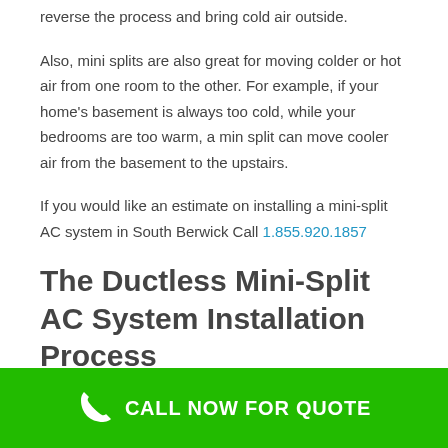reverse the process and bring cold air outside.
Also, mini splits are also great for moving colder or hot air from one room to the other. For example, if your home's basement is always too cold, while your bedrooms are too warm, a min split can move cooler air from the basement to the upstairs.
If you would like an estimate on installing a mini-split AC system in South Berwick Call 1.855.920.1857
The Ductless Mini-Split AC System Installation Process
CALL NOW FOR QUOTE